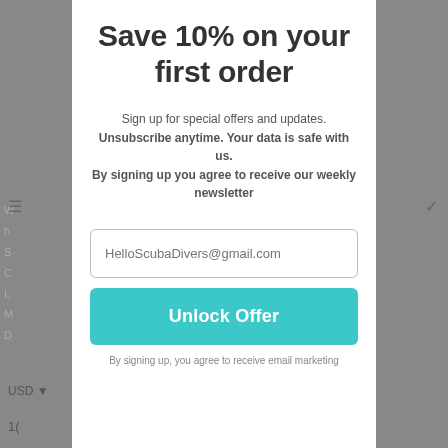Save 10% on your first order
Sign up for special offers and updates. Unsubscribe anytime. Your data is safe with us. By signing up you agree to receive our weekly newsletter
HelloScubaDivers@gmail.com
Unlock Offer
By signing up, you agree to receive email marketing